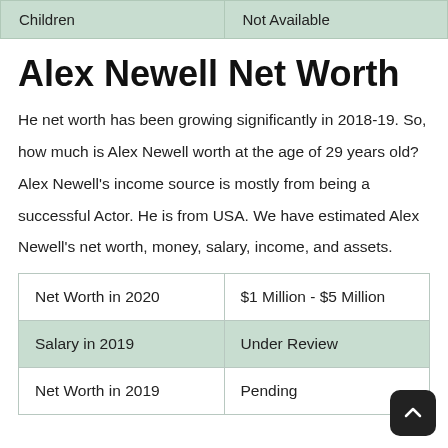| Children | Not Available |
| --- | --- |
Alex Newell Net Worth
He net worth has been growing significantly in 2018-19. So, how much is Alex Newell worth at the age of 29 years old? Alex Newell's income source is mostly from being a successful Actor. He is from USA. We have estimated Alex Newell's net worth, money, salary, income, and assets.
|  |  |
| --- | --- |
| Net Worth in 2020 | $1 Million - $5 Million |
| Salary in 2019 | Under Review |
| Net Worth in 2019 | Pending |